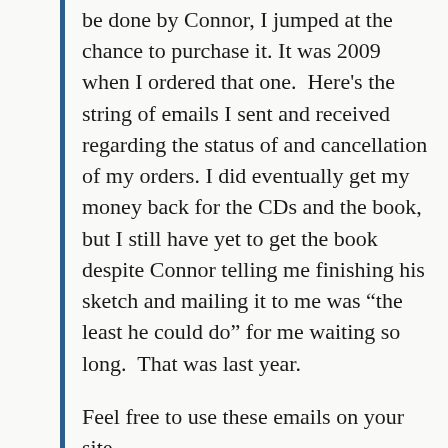be done by Connor, I jumped at the chance to purchase it. It was 2009 when I ordered that one.  Here's the string of emails I sent and received regarding the status of and cancellation of my orders. I did eventually get my money back for the CDs and the book, but I still have yet to get the book despite Connor telling me finishing his sketch and mailing it to me was “the least he could do” for me waiting so long.  That was last year.
Feel free to use these emails on your site.